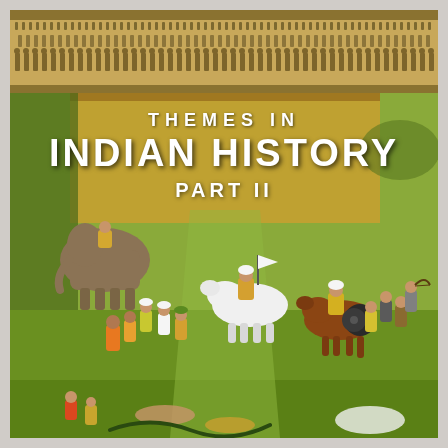[Figure (illustration): Book cover of 'Themes in Indian History Part II'. The cover features a Mughal-style painting showing a battle or polo scene with warriors on horses and elephants, figures in colorful traditional attire, set against a green field with a golden decorative border at the top featuring rows of human figures in relief. The title text is overlaid on the painting.]
THEMES IN INDIAN HISTORY PART II